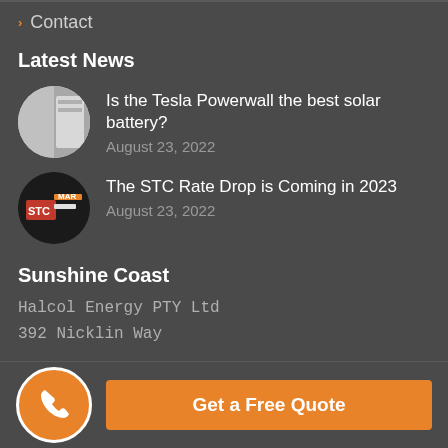› Contact
Latest News
Is the Tesla Powerwall the best solar battery?
August 23, 2022
The STC Rate Drop is Coming in 2023
August 23, 2022
Sunshine Coast
Halcol Energy PTY Ltd
392 Nicklin Way
Get a Free Quote